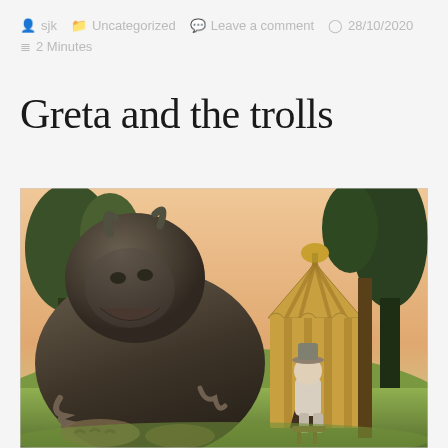sjk   Uncategorized   Leave a comment   28/10/2020   2 Minutes
Greta and the trolls
[Figure (illustration): Fantasy illustration showing a large dark troll creature sitting hunched on the left, with horns and claws, next to a striped circus-style tent on the right. A small human figure wearing a crown sits on a stool in the tent entrance. Trees visible in the background against a warm peachy sky.]